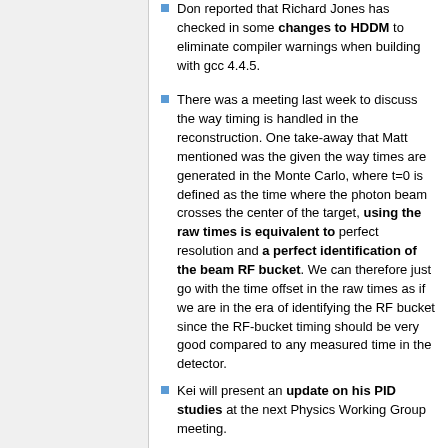Don reported that Richard Jones has checked in some changes to HDDM to eliminate compiler warnings when building with gcc 4.4.5.
There was a meeting last week to discuss the way timing is handled in the reconstruction. One take-away that Matt mentioned was the given the way times are generated in the Monte Carlo, where t=0 is defined as the time where the photon beam crosses the center of the target, using the raw times is equivalent to perfect resolution and a perfect identification of the beam RF bucket. We can therefore just go with the time offset in the raw times as if we are in the era of identifying the RF bucket since the RF-bucket timing should be very good compared to any measured time in the detector.
Kei will present an update on his PID studies at the next Physics Working Group meeting.
Configuring JANA